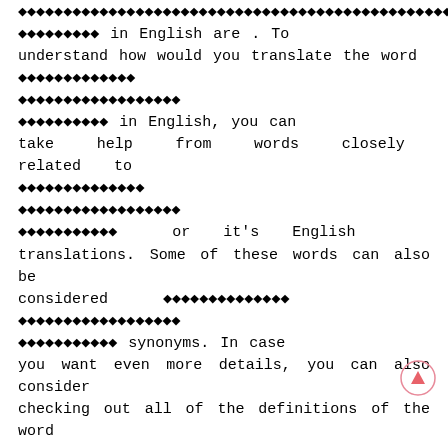◆◆◆◆◆◆◆◆◆ in English are . To understand how would you translate the word ◆◆◆◆◆◆◆◆◆◆◆ ◆◆◆◆◆◆◆◆◆◆◆◆◆◆◆◆◆ ◆◆◆◆◆◆◆◆◆◆ in English, you can take help from words closely related to ◆◆◆◆◆◆◆◆◆◆◆◆◆ ◆◆◆◆◆◆◆◆◆◆◆◆◆◆◆◆◆ ◆◆◆◆◆◆◆◆◆◆  or it's English translations. Some of these words can also be considered ◆◆◆◆◆◆◆◆◆◆◆◆◆ ◆◆◆◆◆◆◆◆◆◆◆◆◆◆◆◆◆ ◆◆◆◆◆◆◆◆◆◆◆ synonyms. In case you want even more details, you can also consider checking out all of the definitions of the word ◆◆◆◆◆◆◆◆◆◆◆◆ ◆◆◆◆◆◆◆◆◆◆◆◆◆◆◆◆◆